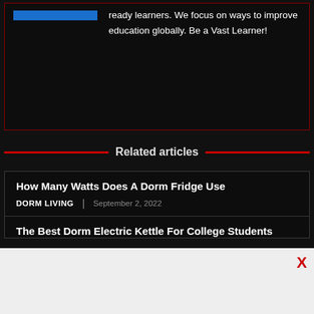ready learners. We focus on ways to improve education globally. Be a Vast Learner!
Related articles
How Many Watts Does A Dorm Fridge Use
DORM LIVING | September 2, 2022
The Best Dorm Electric Kettle For College Students
[Figure (other): Advertisement banner with close X button]